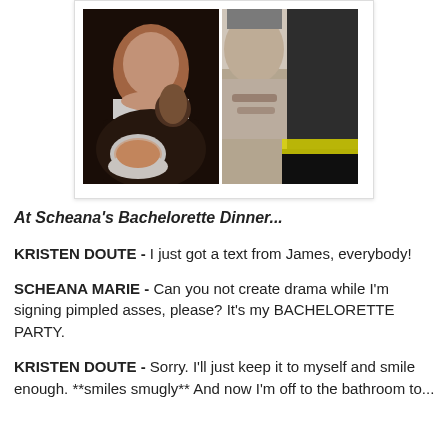[Figure (photo): Two side-by-side photos: left shows a woman laughing at a restaurant dinner table with a plate of food; right shows someone signing/writing on another person's lower back.]
At Scheana's Bachelorette Dinner...
KRISTEN DOUTE - I just got a text from James, everybody!
SCHEANA MARIE - Can you not create drama while I'm signing pimpled asses, please? It's my BACHELORETTE PARTY.
KRISTEN DOUTE - Sorry. I'll just keep it to myself and smile enough. **smiles smugly** And now I'm off to the bathroom to...